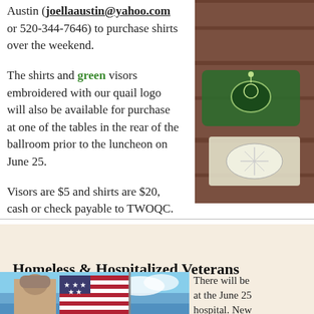Austin (joellaaustin@yahoo.com or 520-344-7646) to purchase shirts over the weekend.
The shirts and green visors embroidered with our quail logo will also be available for purchase at one of the tables in the rear of the ballroom prior to the luncheon on June 25.
[Figure (photo): Photo of green embroidered quail logo items on a wooden surface]
Visors are $5 and shirts are $20, cash or check payable to TWOQC.
Homeless & Hospitalized Veterans
[Figure (photo): Photo of a person in a hooded jacket holding an American flag against a blue sky]
There will be at the June 25 hospital. New